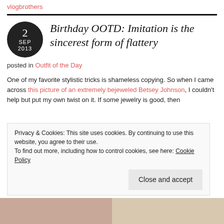vlogbrothers
Birthday OOTD: Imitation is the sincerest form of flattery
posted in Outfit of the Day
One of my favorite stylistic tricks is shameless copying. So when I came across this picture of an extremely bejeweled Betsey Johnson, I couldn't help but put my own twist on it. If some jewelry is good, then
Privacy & Cookies: This site uses cookies. By continuing to use this website, you agree to their use. To find out more, including how to control cookies, see here: Cookie Policy
[Figure (photo): Two photo thumbnails at bottom of page showing people]